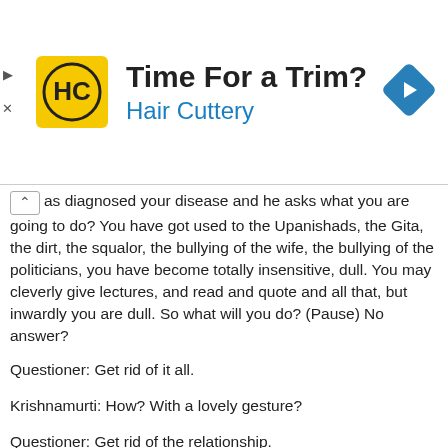[Figure (screenshot): Advertisement banner for Hair Cuttery salon. Yellow HC logo on left, text 'Time For a Trim?' and 'Hair Cuttery' in center, blue diamond navigation icon on right.]
as diagnosed your disease and he asks what you are going to do? You have got used to the Upanishads, the Gita, the dirt, the squalor, the bullying of the wife, the bullying of the politicians, you have become totally insensitive, dull. You may cleverly give lectures, and read and quote and all that, but inwardly you are dull. So what will you do? (Pause) No answer?
Questioner: Get rid of it all.
Krishnamurti: How? With a lovely gesture?
Questioner: Get rid of the relationship.
Krishnamurti: Walk out on her, and on the children? And fall into another trap? So what will you do, Sir?
Questioner: Find out why she bullies me.
Krishnamurti: She won t tell me. She has her own miseries. She has God knows what problems. She is unsatisfied, perhaps, sexually. But maybe is ill. She has something that may go. You have got